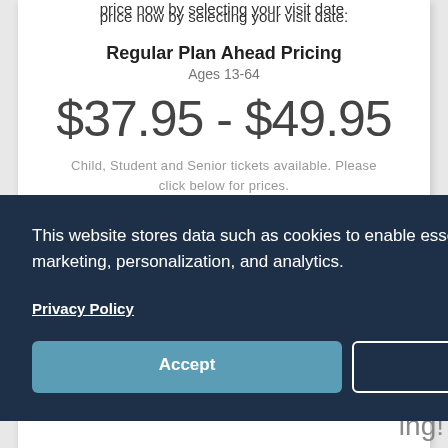price now by selecting your visit date.
Regular Plan Ahead Pricing
Ages 13-64
$37.95 - $49.95
Child, Student and Senior tickets available. Please click below for prices.
This website stores data such as cookies to enable essential site functionality, as well as marketing, personalization, and analytics.
Privacy Policy
Accept
Deny
ing!